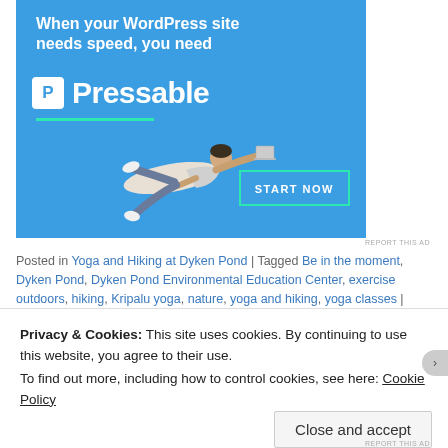[Figure (illustration): Pressable WordPress hosting advertisement banner. Blue background with white bold text 'When your WordPress site needs speed, you need' and Pressable logo (white P icon in square + white 'Pressable' wordmark), a teal underline, a person flying horizontally holding a laptop, and a 'START NOW' button with teal border.]
REPORT THIS AD
Posted in Yoga and Hiking at Dyken Pond | Tagged Be in the moment, Dyken Pond, Dyken Pond Environmental Education Center, exercise outdoors, hiking, Kripalu yoga, nature, yoga and hiking, yoga classes | Leave a comment
Privacy & Cookies: This site uses cookies. By continuing to use this website, you agree to their use.
To find out more, including how to control cookies, see here: Cookie Policy
Close and accept
REPORT THIS AD